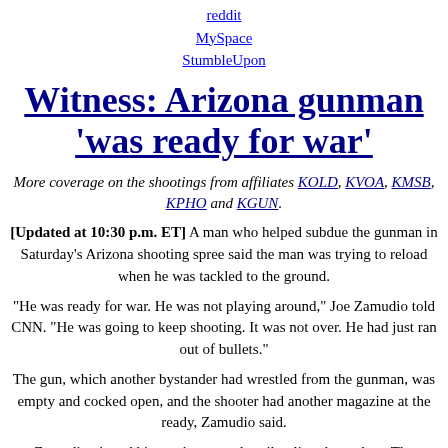reddit
MySpace
StumbleUpon
Witness: Arizona gunman 'was ready for war'
More coverage on the shootings from affiliates KOLD, KVOA, KMSB, KPHO and KGUN.
[Updated at 10:30 p.m. ET] A man who helped subdue the gunman in Saturday's Arizona shooting spree said the man was trying to reload when he was tackled to the ground.
"He was ready for war. He was not playing around," Joe Zamudio told CNN. "He was going to keep shooting. It was not over. He had just ran out of bullets."
The gun, which another bystander had wrestled from the gunman, was empty and cocked open, and the shooter had another magazine at the ready, Zamudio said.
Zamudio pinned him to the ground until police showed up. The